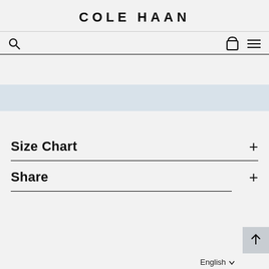COLE HAAN
[Figure (screenshot): Navigation bar with search icon, search input line, bag icon, and hamburger menu icon]
[Figure (other): Light blue-gray decorative band across full width]
Size Chart +
Share +
English